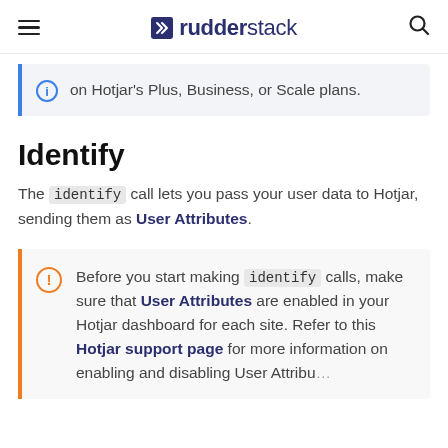rudderstack
on Hotjar's Plus, Business, or Scale plans.
Identify
The identify call lets you pass your user data to Hotjar, sending them as User Attributes.
Before you start making identify calls, make sure that User Attributes are enabled in your Hotjar dashboard for each site. Refer to this Hotjar support page for more information on enabling and disabling User Attributes.